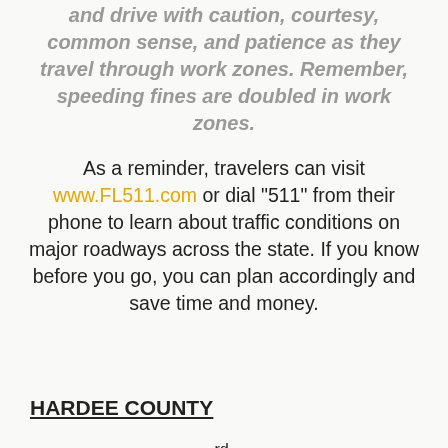and drive with caution, courtesy, common sense, and patience as they travel through work zones. Remember, speeding fines are doubled in work zones.
As a reminder, travelers can visit www.FL511.com or dial "511" from their phone to learn about traffic conditions on major roadways across the state. If you know before you go, you can plan accordingly and save time and money.
HARDEE COUNTY
US 17 from north of 3rd Street East to the